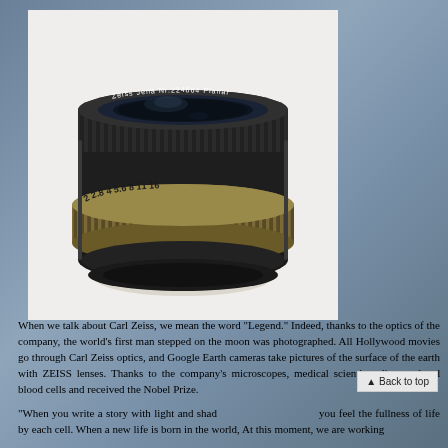[Figure (photo): A vintage Carl Zeiss Jena camera lens, black with brass/metal aperture ring, serial number 224864, Planar model, photographed on a white background.]
When we talk about Carl Zeiss, we mean the word “Legend.” Indeed, thanks to the optics of the company, the world’s first man stepped on the moon was photographed. All Hollywood movies go through Carl Zeiss optics, and Google Earth cameras take pictures of the surface of the earth with ZEISS lenses. Thanks to the company’s microscopes, medical scientists discerned red blood cells and received the Nobel Prize.
“When you write a story with light and shad you feel the fullness of life by each cell. When a new life is born in the world, At this moment, we are working